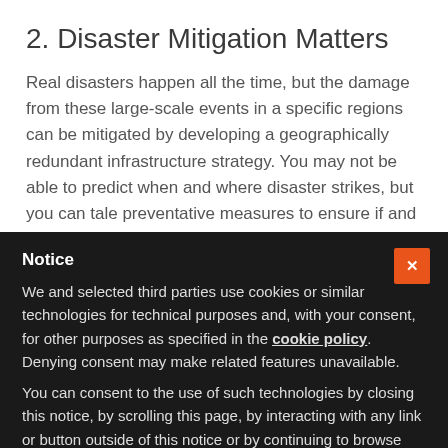2. Disaster Mitigation Matters
Real disasters happen all the time, but the damage from these large-scale events in a specific regions can be mitigated by developing a geographically redundant infrastructure strategy. You may not be able to predict when and where disaster strikes, but you can tale preventative measures to ensure if and when it
Notice
We and selected third parties use cookies or similar technologies for technical purposes and, with your consent, for other purposes as specified in the cookie policy. Denying consent may make related features unavailable.
You can consent to the use of such technologies by closing this notice, by scrolling this page, by interacting with any link or button outside of this notice or by continuing to browse otherwise.